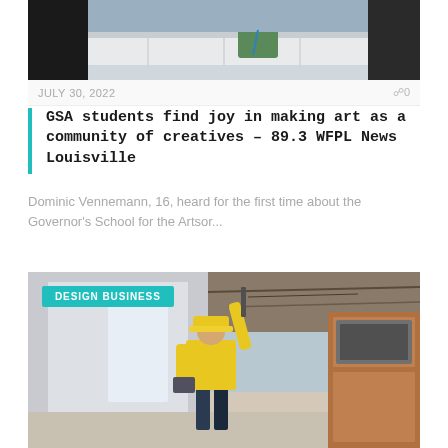[Figure (photo): Photo of a person looking into a mirror or window in an interior setting]
JULY 30, 2022
0
GSA students find joy in making art as a community of creatives – 89.3 WFPL News Louisville
Dominic Vennemann, 16, heard for the first time about the Governor's School for the Artsor...
[Figure (photo): Construction worker in yellow safety vest and hard hat holding a tablet, working in a building interior with exposed ceiling]
DESIGN BUSINESS